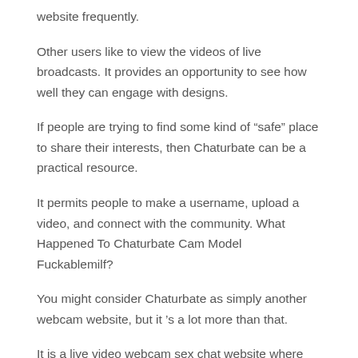website frequently.
Other users like to view the videos of live broadcasts. It provides an opportunity to see how well they can engage with designs.
If people are trying to find some kind of “safe” place to share their interests, then Chaturbate can be a practical resource.
It permits people to make a username, upload a video, and connect with the community. What Happened To Chaturbate Cam Model Fuckablemilf?
You might consider Chaturbate as simply another webcam website, but it ’s a lot more than that.
It is a live video webcam sex chat website where users of any ages are able to relay their own individual web cams to viewers, and engage in genuine time with complete strangers worldwide.